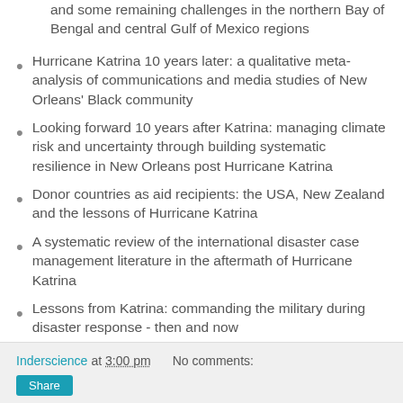and some remaining challenges in the northern Bay of Bengal and central Gulf of Mexico regions
Hurricane Katrina 10 years later: a qualitative meta-analysis of communications and media studies of New Orleans' Black community
Looking forward 10 years after Katrina: managing climate risk and uncertainty through building systematic resilience in New Orleans post Hurricane Katrina
Donor countries as aid recipients: the USA, New Zealand and the lessons of Hurricane Katrina
A systematic review of the international disaster case management literature in the aftermath of Hurricane Katrina
Lessons from Katrina: commanding the military during disaster response - then and now
Inderscience at 3:00 pm   No comments: